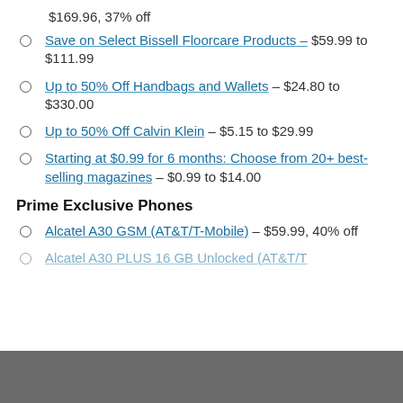$169.96, 37% off
Save on Select Bissell Floorcare Products – $59.99 to $111.99
Up to 50% Off Handbags and Wallets – $24.80 to $330.00
Up to 50% Off Calvin Klein – $5.15 to $29.99
Starting at $0.99 for 6 months: Choose from 20+ best-selling magazines – $0.99 to $14.00
Prime Exclusive Phones
Alcatel A30 GSM (AT&T/T-Mobile) – $59.99, 40% off
Alcatel A30 PLUS 16 GB Unlocked (AT&T/T…